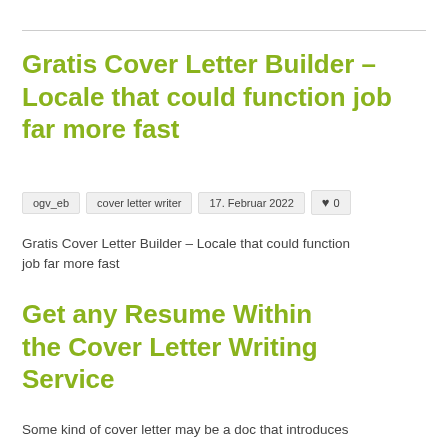Gratis Cover Letter Builder – Locale that could function job far more fast
ogv_eb  cover letter writer  17. Februar 2022  ♥ 0
Gratis Cover Letter Builder – Locale that could function job far more fast
Get any Resume Within the Cover Letter Writing Service
Some kind of cover letter may be a doc that introduces yourself…